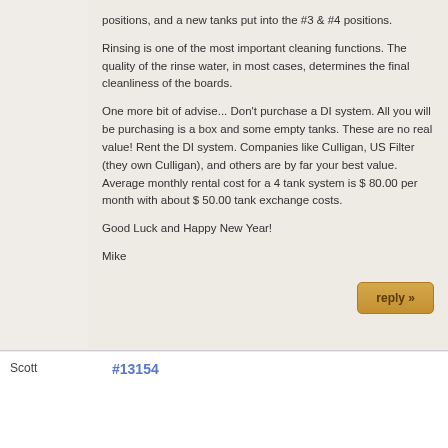positions, and a new tanks put into the #3 & #4 positions.
Rinsing is one of the most important cleaning functions. The quality of the rinse water, in most cases, determines the final cleanliness of the boards.
One more bit of advise... Don't purchase a DI system. All you will be purchasing is a box and some empty tanks. These are no real value! Rent the DI system. Companies like Culligan, US Filter (they own Culligan), and others are by far your best value. Average monthly rental cost for a 4 tank system is $ 80.00 per month with about $ 50.00 tank exchange costs.
Good Luck and Happy New Year!
Mike
Scott
#13154